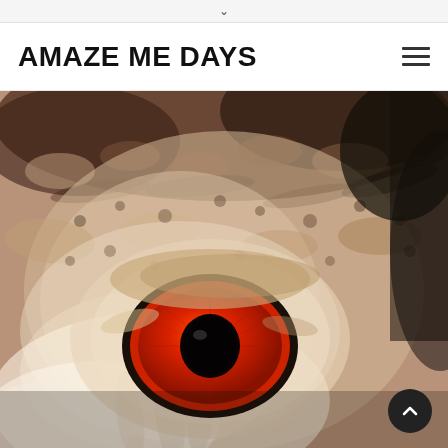∨
AMAZE ME DAYS
[Figure (photo): Extreme close-up photograph of an owl's eye, showing intricate feather patterns in brown, black, and beige tones surrounding a striking large red-orange iris with a black pupil at center.]